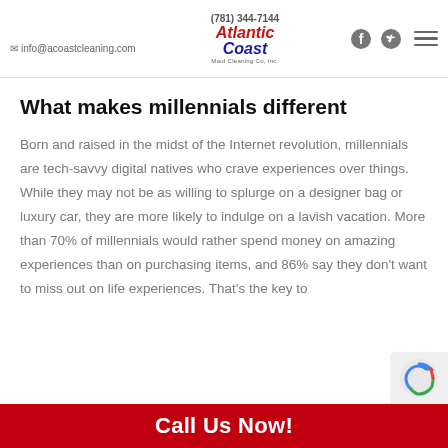info@acoastcleaning.com | (781) 344-7144 | Atlantic Coast logo | Facebook | Twitter | Hamburger menu
What makes millennials different
Born and raised in the midst of the Internet revolution, millennials are tech-savvy digital natives who crave experiences over things. While they may not be as willing to splurge on a designer bag or luxury car, they are more likely to indulge on a lavish vacation. More than 70% of millennials would rather spend money on amazing experiences than on purchasing items, and 86% say they don't want to miss out on life experiences. That's the key to
Call Us Now!